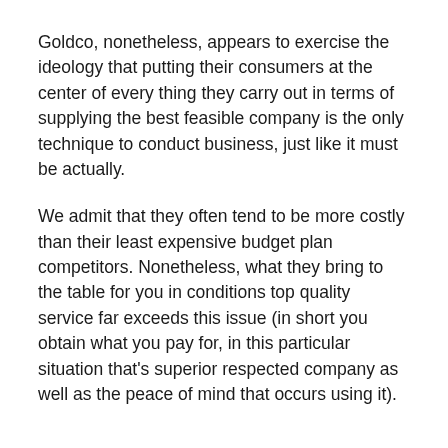Goldco, nonetheless, appears to exercise the ideology that putting their consumers at the center of every thing they carry out in terms of supplying the best feasible company is the only technique to conduct business, just like it must be actually.
We admit that they often tend to be more costly than their least expensive budget plan competitors. Nonetheless, what they bring to the table for you in conditions top quality service far exceeds this issue (in short you obtain what you pay for, in this particular situation that's superior respected company as well as the peace of mind that occurs using it).